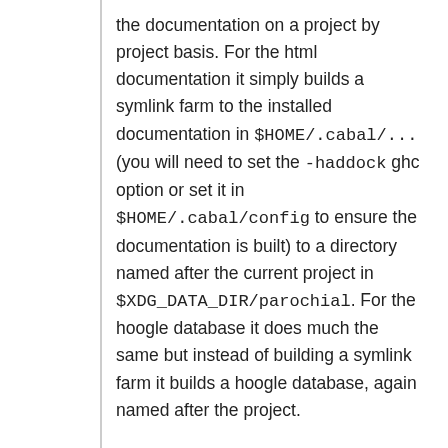the documentation on a project by project basis. For the html documentation it simply builds a symlink farm to the installed documentation in $HOME/.cabal/... (you will need to set the -haddock ghc option or set it in $HOME/.cabal/config to ensure the documentation is built) to a directory named after the current project in $XDG_DATA_DIR/parochial. For the hoogle database it does much the same but instead of building a symlink farm it builds a hoogle database, again named after the project.
Benefits
Fast.